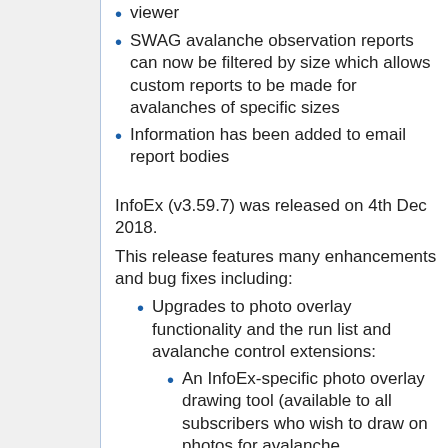viewer
SWAG avalanche observation reports can now be filtered by size which allows custom reports to be made for avalanches of specific sizes
Information has been added to email report bodies
InfoEx (v3.59.7) was released on 4th Dec 2018.
This release features many enhancements and bug fixes including:
Upgrades to photo overlay functionality and the run list and avalanche control extensions:
An InfoEx-specific photo overlay drawing tool (available to all subscribers who wish to draw on photos for avalanche